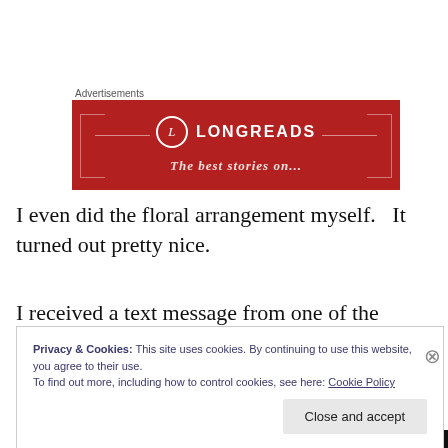Advertisements
[Figure (illustration): Longreads advertisement banner: red background with Longreads logo (circle with L), horizontal decorative lines, and partial tagline text 'The best stories on...']
I even did the floral arrangement myself.   It turned out pretty nice.
I received a text message from one of the guests later that
Privacy & Cookies: This site uses cookies. By continuing to use this website, you agree to their use.
To find out more, including how to control cookies, see here: Cookie Policy
Close and accept